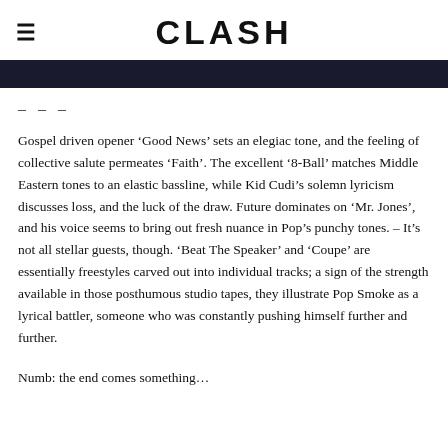CLASH
[Figure (photo): Dark background image bar at the top of article]
– – –
Gospel driven opener ‘Good News’ sets an elegiac tone, and the feeling of collective salute permeates ‘Faith’. The excellent ‘8-Ball’ matches Middle Eastern tones to an elastic bassline, while Kid Cudi’s solemn lyricism discusses loss, and the luck of the draw. Future dominates on ‘Mr. Jones’, and his voice seems to bring out fresh nuance in Pop’s punchy tones. – It’s not all stellar guests, though. ‘Beat The Speaker’ and ‘Coupe’ are essentially freestyles carved out into individual tracks; a sign of the strength available in those posthumous studio tapes, they illustrate Pop Smoke as a lyrical battler, someone who was constantly pushing himself further and further.
Numb: the end comes something...